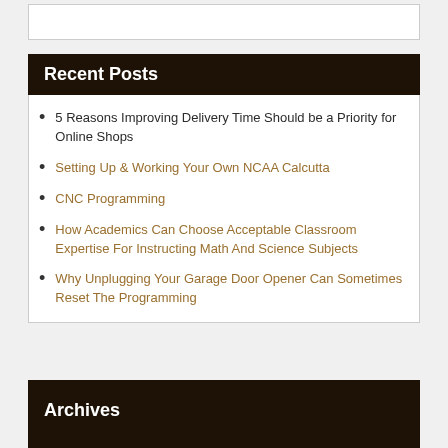Recent Posts
5 Reasons Improving Delivery Time Should be a Priority for Online Shops
Setting Up & Working Your Own NCAA Calcutta
CNC Programming
How Academics Can Choose Acceptable Classroom Expertise For Instructing Math And Science Subjects
Why Unplugging Your Garage Door Opener Can Sometimes Reset The Programming
Archives